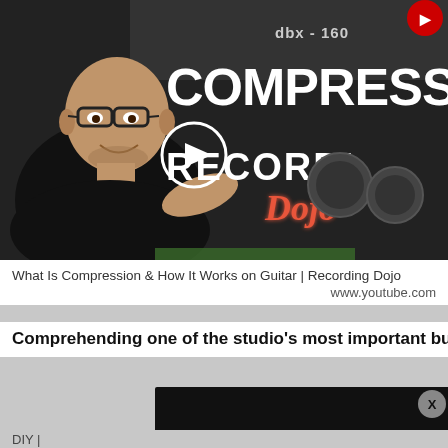[Figure (screenshot): YouTube video thumbnail showing a man in a black polo shirt in front of audio equipment with text 'COMPRESSION' and 'RECORDING Dojo' overlay]
What Is Compression & How It Works on Guitar | Recording Dojo
www.youtube.com
Comprehending one of the studio's most important but mysterious tools—with metaphorical cocktails!
[Figure (logo): Two-Rock Amplifiers logo in white script on black background]
DIY |